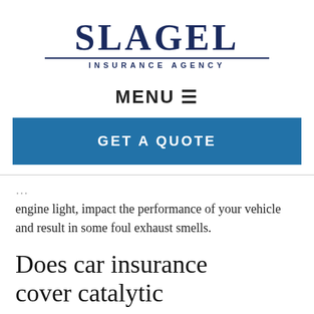[Figure (logo): Slagel Insurance Agency logo with bold serif SLAGEL text and underline with 'INSURANCE AGENCY' in small caps below]
MENU ☰
GET A QUOTE
engine light, impact the performance of your vehicle and result in some foul exhaust smells.
Does car insurance cover catalytic